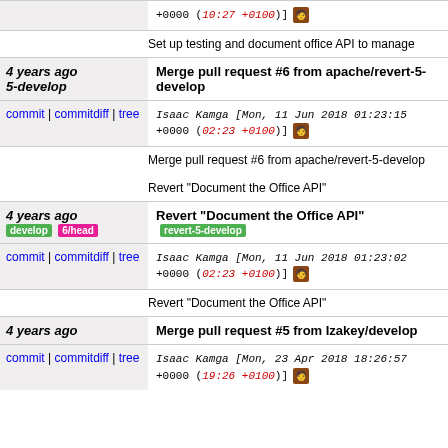+0000 (10:27 +0100)]  [avatar]
Set up testing and document office API to manage
4 years ago 5-develop | Merge pull request #6 from apache/revert-5-develop
commit | commitdiff | tree   Isaac Kamga [Mon, 11 Jun 2018 01:23:15 +0000 (02:23 +0100)]  [avatar]
Merge pull request #6 from apache/revert-5-develop

Revert "Document the Office API"
4 years ago  develop | 6/head | Revert "Document the Office API" revert-5-develop
commit | commitdiff | tree   Isaac Kamga [Mon, 11 Jun 2018 01:23:02 +0000 (02:23 +0100)]  [avatar]
Revert "Document the Office API"
4 years ago | Merge pull request #5 from Izakey/develop
commit | commitdiff | tree   Isaac Kamga [Mon, 23 Apr 2018 18:26:57 +0000 (19:26 +0100)]  [avatar]